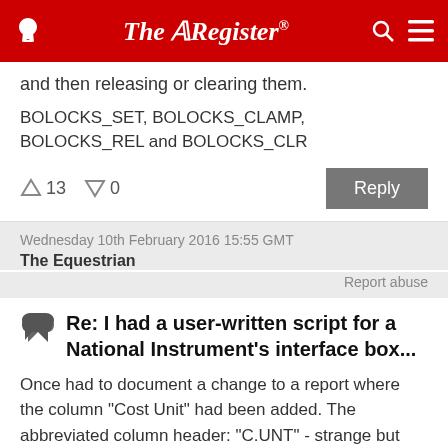The Register
and then releasing or clearing them.
BOLOCKS_SET, BOLOCKS_CLAMP, BOLOCKS_REL and BOLOCKS_CLR
13 upvotes, 0 downvotes
Wednesday 10th February 2016 15:55 GMT
The Equestrian
Report abuse
Re: I had a user-written script for a National Instrument's interface box...
Once had to document a change to a report where the column "Cost Unit" had been added. The abbreviated column header: "C.UNT" - strange but none of the accounts people saw anything wrong with it!!!
3 upvotes, 0 downvotes